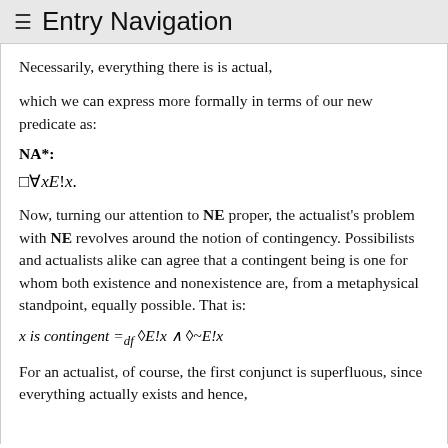≡ Entry Navigation
Necessarily, everything there is is actual,
which we can express more formally in terms of our new predicate as:
NA*:
Now, turning our attention to NE proper, the actualist's problem with NE revolves around the notion of contingency. Possibilists and actualists alike can agree that a contingent being is one for whom both existence and nonexistence are, from a metaphysical standpoint, equally possible. That is:
For an actualist, of course, the first conjunct is superfluous, since everything actually exists and hence,